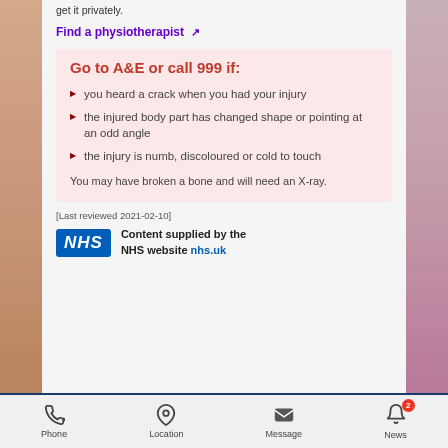get it privately.
Find a physiotherapist ↗
Go to A&E or call 999 if:
you heard a crack when you had your injury
the injured body part has changed shape or pointing at an odd angle
the injury is numb, discoloured or cold to touch
You may have broken a bone and will need an X-ray.
[Last reviewed 2021-02-10]
[Figure (logo): NHS logo blue rectangle with white italic text 'NHS', beside text: Content supplied by the NHS website nhs.uk]
Phone  Location  Message  News (2 notifications)